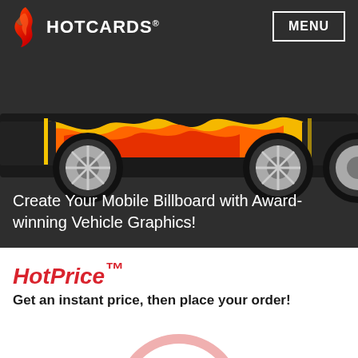HOTCARDS®
[Figure (illustration): Side view of a car with flame/fire vehicle wrap graphics, two visible chrome wheels, yellow and orange flame design on the body, against a dark background.]
Create Your Mobile Billboard with Award-winning Vehicle Graphics!
HotPrice™
Get an instant price, then place your order!
[Figure (illustration): Partial circle/ring shape in light pink/rose color, visible at the bottom of the page.]